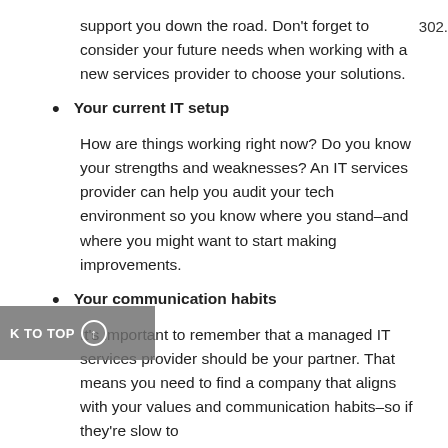support you down the road. Don't forget to consider your future needs when working with a new services provider to choose your solutions.
Your current IT setup
How are things working right now? Do you know your strengths and weaknesses? An IT services provider can help you audit your tech environment so you know where you stand–and where you might want to start making improvements.
Your communication habits
It's important to remember that a managed IT services provider should be your partner. That means you need to find a company that aligns with your values and communication habits–so if they're slow to...